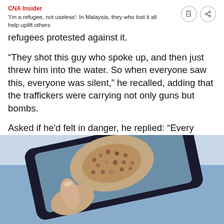CNA Insider
'I'm a refugee, not useless': In Malaysia, they who lost it all help uplift others
refugees protested against it.
“They shot this guy who spoke up, and then just threw him into the water. So when everyone saw this, everyone was silent,” he recalled, adding that the traffickers were carrying not only guns but bombs.
Asked if he'd felt in danger, he replied: “Every second.”
[Figure (photo): A hand holding a smartphone displaying a photo of a large crowd of refugees on a boat or dock, viewed from above.]